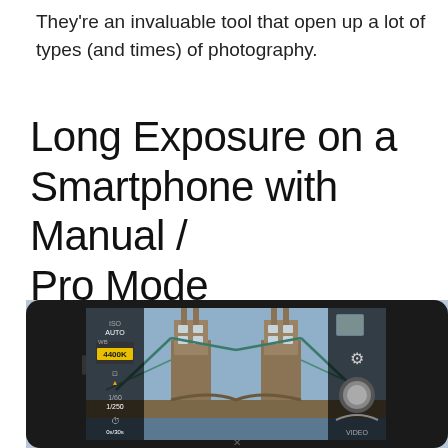They're an invaluable tool that open up a lot of types (and times) of photography.
Long Exposure on a Smartphone with Manual / Pro Mode
[Figure (photo): A smartphone in landscape mode displaying a photo of Tower Bridge in London on its screen, showing manual/pro camera mode UI with settings panels on left and right sides.]